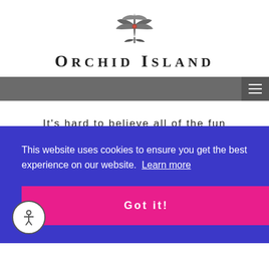[Figure (logo): Orchid Island logo with stylized flower/fan icon above the text ORCHID ISLAND in serif uppercase letters]
[Figure (screenshot): Gray navigation bar with hamburger menu icon on the right]
It's hard to believe all of the fun
This website uses cookies to ensure you get the best experience on our website. Learn more
Got it!